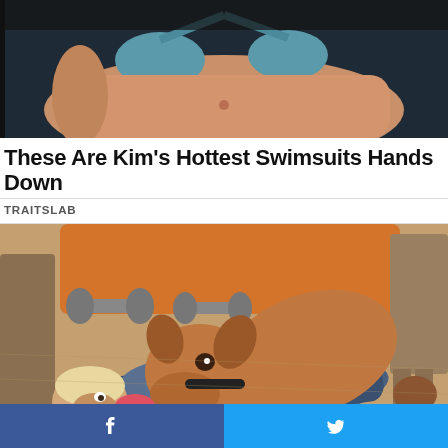[Figure (photo): Woman in blue/teal bikini lying down, partial torso visible, dark background]
These Are Kim's Hottest Swimsuits Hands Down
TRAITSLAB
[Figure (photo): A brown pit bull dog licking or nuzzling a man who is lying on the floor, chairs and dumbbells visible in background]
Tarantino's Latest Effort Will Probably Be His Best to
Facebook share button | Twitter share button